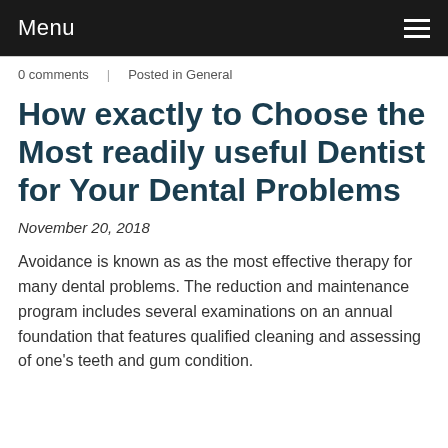Menu
0 comments   Posted in General
How exactly to Choose the Most readily useful Dentist for Your Dental Problems
November 20, 2018
Avoidance is known as as the most effective therapy for many dental problems. The reduction and maintenance program includes several examinations on an annual foundation that features qualified cleaning and assessing of one's teeth and gum condition.